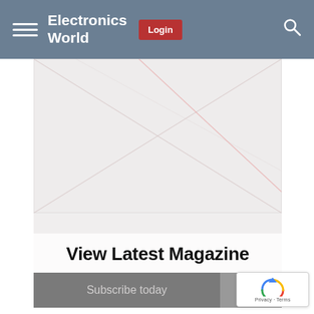Electronics World | Login
[Figure (screenshot): Magazine cover image placeholder with diagonal lines on light gray background, showing 'View Latest Magazine' title overlay and 'Subscribe today' bar below]
View Latest Magazine
Subscribe today
[Figure (logo): reCAPTCHA badge with blue/red arrow logo and 'Privacy - Terms' text]